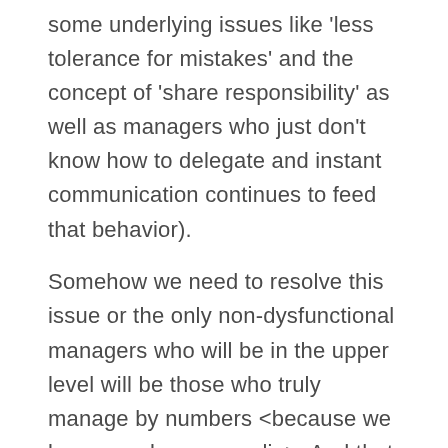some underlying issues like 'less tolerance for mistakes' and the concept of 'share responsibility' as well as managers who just don't know how to delegate and instant communication continues to feed that behavior).
Somehow we need to resolve this issue or the only non-dysfunctional managers who will be in the upper level will be those who truly manage by numbers <because we know numbers never lie>. And that, my friends, is scary. The number crunchers will rule the world.